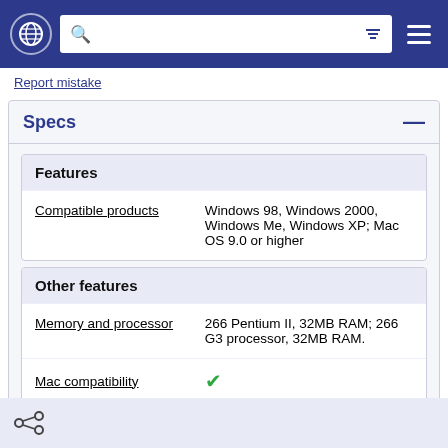Navigation bar with globe icon, search bar, and hamburger menu
Report mistake
Specs
| Features |  |
| --- | --- |
| Compatible products | Windows 98, Windows 2000, Windows Me, Windows XP; Mac OS 9.0 or higher |
| Other features |  |
| --- | --- |
| Memory and processor | 266 Pentium II, 32MB RAM; 266 G3 processor, 32MB RAM. |
| Mac compatibility | ✓ |
Share icon